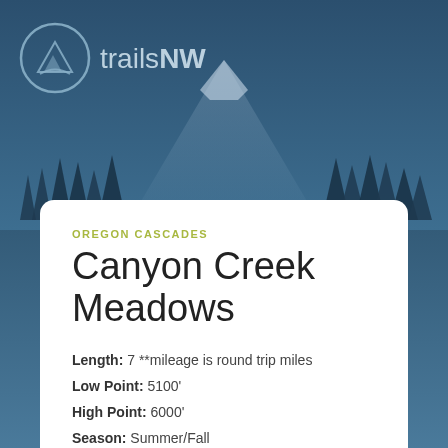[Figure (illustration): TrailsNW logo with mountain and path icon in a circle, alongside the brand name 'trailsNW', overlaid on a blue-tinted mountain landscape with trees silhouette]
OREGON CASCADES
Canyon Creek Meadows
Length: 7 **mileage is round trip miles
Low Point: 5100'
High Point: 6000'
Season: Summer/Fall
Scenery: 0/5
Difficulty: 0/5
Submitted by: Forrest
Directions